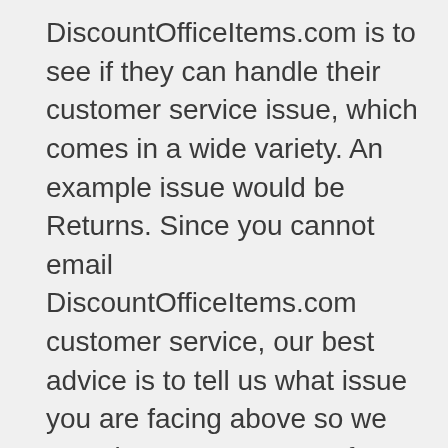DiscountOfficeItems.com is to see if they can handle their customer service issue, which comes in a wide variety. An example issue would be Returns. Since you cannot email DiscountOfficeItems.com customer service, our best advice is to tell us what issue you are facing above so we can give you next steps for your specific problem. Beyond that, check out their next best contact information above and try that. Either way, we want you to get your problem addressed as quickly as possible. It's sometimes hard to find information about how best to contact companies like DiscountOfficeItems.com by email, so GetHuman gathers information like this from customers so we can share amongst ourselves.